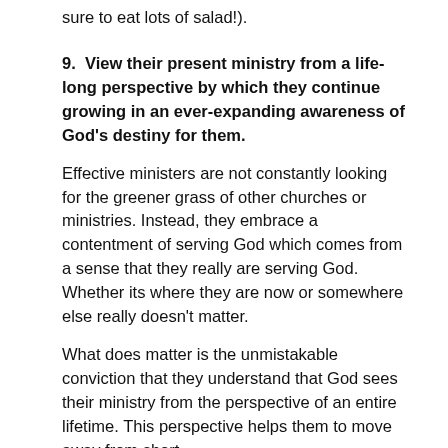sure to eat lots of salad!).
9.  View their present ministry from a life-long perspective by which they continue growing in an ever-expanding awareness of God's destiny for them.
Effective ministers are not constantly looking for the greener grass of other churches or ministries. Instead, they embrace a contentment of serving God which comes from a sense that they really are serving God. Whether its where they are now or somewhere else really doesn't matter.
What does matter is the unmistakable conviction that they understand that God sees their ministry from the perspective of an entire lifetime. This perspective helps them to move away from short